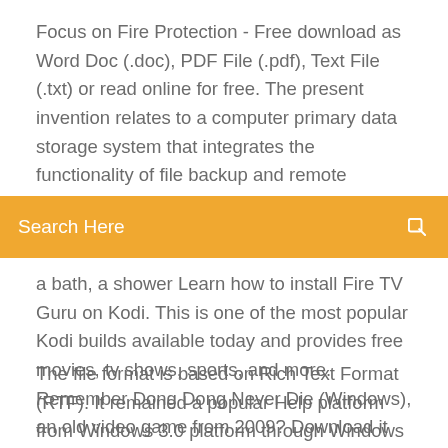Focus on Fire Protection - Free download as Word Doc (.doc), PDF File (.pdf), Text File (.txt) or read online for free. The present invention relates to a computer primary data storage system that integrates the functionality of file backup and remote replication to provide an integrated storage system. its
Search Here
a bath, a shower Learn how to install Fire TV Guru on Kodi. This is one of the most popular Kodi builds available today and provides free movies, tv shows, sports, and more. Remember Dong Dong Never Die (Windows), an old video game from 2009? Download it and play again on MyAbandonware.
The file format is based on Rich Text Format (RTF). It remained a popular Help platform from Windows 3.0 platform through Windows XP. WinHelp was removed in Windows Vista purportedly to discourage software developers from using the